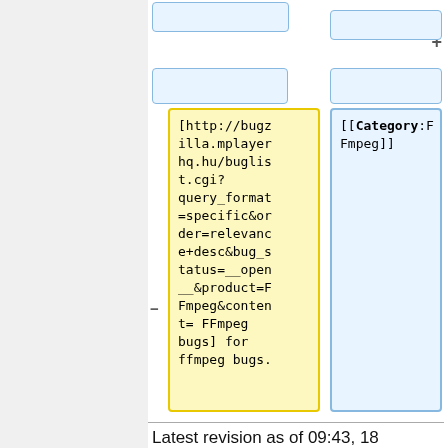[Figure (screenshot): Wiki diff view showing two columns. Left yellow box contains deleted URL text: [http://bugzilla.mplayerhq.hu/buglist.cgi?query_format=specific&order=relevance+desc&bug_status=__open__&product=FFmpeg&content= FFmpeg bugs] for ffmpeg bugs. Right blue box contains added text: [[Category:F Fmpeg]]. Minus and plus signs indicate removed/added content. Top rows show blue bordered boxes.]
Latest revision as of 09:43, 18 March 2008